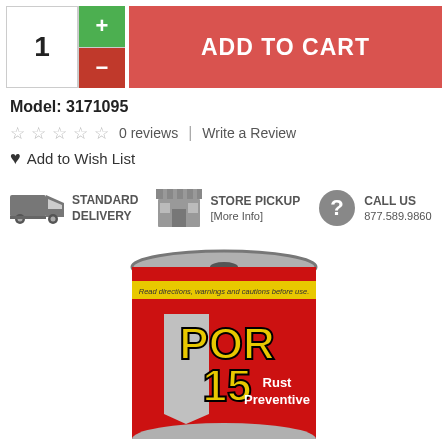[Figure (screenshot): Add to cart row with quantity selector (1), green plus button, red minus button, and red ADD TO CART button]
Model: 3171095
☆ ☆ ☆ ☆ ☆  0 reviews  |  Write a Review
♥ Add to Wish List
[Figure (infographic): Three shipping options: STANDARD DELIVERY (truck icon), STORE PICKUP [More Info] (store icon), CALL US 877.589.9860 (question mark icon)]
[Figure (photo): POR-15 Rust Preventive paint can, red label with POR 15 branding, partially cropped at bottom]